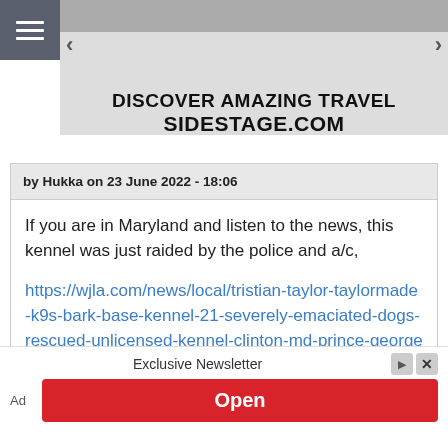[Figure (screenshot): Top navigation bar with hamburger menu icon on the left and an advertisement banner reading DISCOVER AMAZING TRAVEL SIDESTAGE.COM with left/right navigation arrows]
by Hukka on 23 June 2022 - 18:06
If you are in Maryland and listen to the news, this kennel was just raided by the police and a/c,
https://wjla.com/news/local/tristian-taylor-taylormade-k9s-bark-base-kennel-21-severely-emaciated-dogs-rescued-unlicensed-kennel-clinton-md-prince-georges-county-animal-control
[Figure (screenshot): Bottom advertisement bar with Exclusive Newsletter label, Open button in red, and Ad label]